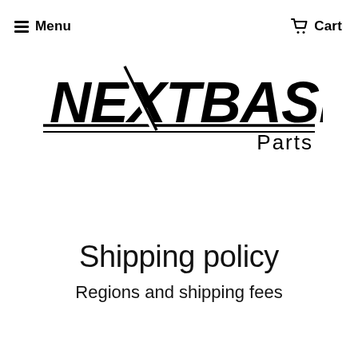Menu  Cart
[Figure (logo): NEXTBASE Parts logo — bold italic condensed sans-serif wordmark 'NEXTBASE' with diagonal slash accent, 'Parts' in lighter weight below right, underline rule]
Shipping policy
Regions and shipping fees